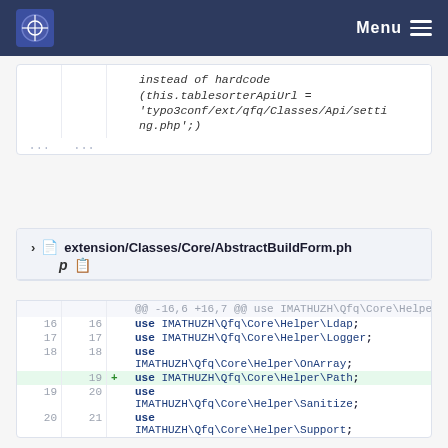Menu
[Figure (screenshot): Code diff showing top block with italic code snippet: instead of hardcode (this.tablesorterApiUrl = 'typo3conf/ext/qfq/Classes/Api/setting.php';)]
extension/Classes/Core/AbstractBuildForm.php
[Figure (screenshot): Code diff for AbstractBuildForm.php showing added line: use IMATHUZH\Qfq\Core\Helper\Path; at line 19, with context lines 16-21 showing use statements for Ldap, Logger, OnArray, Sanitize, Support]